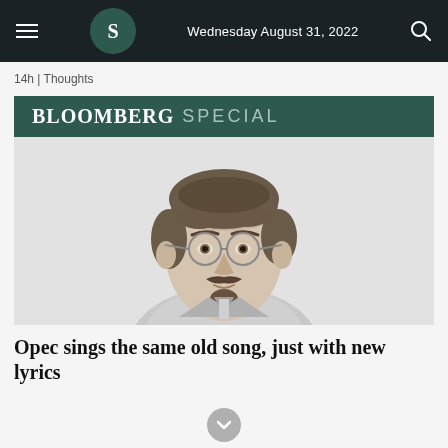Wednesday August 31, 2022
14h | Thoughts
[Figure (illustration): Bloomberg Special banner with bold serif BLOOMBERG and light SPECIAL text on dark teal background, followed by a pencil/ink illustration portrait of a man with glasses, mustache and goatee, wearing a suit]
Opec sings the same old song, just with new lyrics